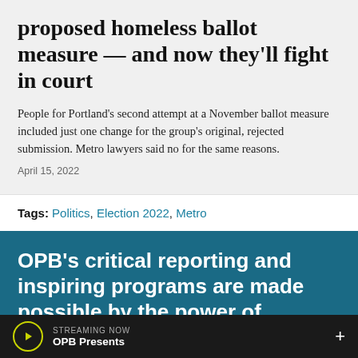proposed homeless ballot measure — and now they'll fight in court
People for Portland's second attempt at a November ballot measure included just one change for the group's original, rejected submission. Metro lawyers said no for the same reasons.
April 15, 2022
Tags: Politics, Election 2022, Metro
OPB's critical reporting and inspiring programs are made possible by the power of
STREAMING NOW OPB Presents